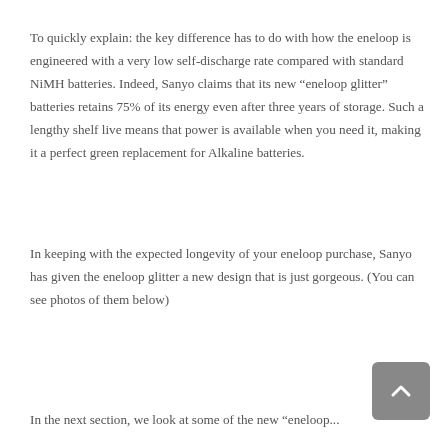To quickly explain: the key difference has to do with how the eneloop is engineered with a very low self-discharge rate compared with standard NiMH batteries. Indeed, Sanyo claims that its new “eneloop glitter” batteries retains 75% of its energy even after three years of storage. Such a lengthy shelf live means that power is available when you need it, making it a perfect green replacement for Alkaline batteries.
In keeping with the expected longevity of your eneloop purchase, Sanyo has given the eneloop glitter a new design that is just gorgeous. (You can see photos of them below)
In the next section, we look at some of the new “eneloop...